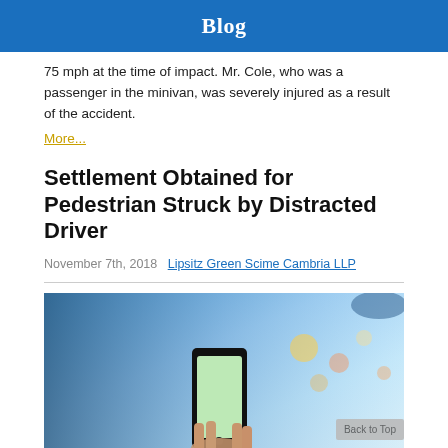Blog
75 mph at the time of impact. Mr. Cole, who was a passenger in the minivan, was severely injured as a result of the accident.
More...
Settlement Obtained for Pedestrian Struck by Distracted Driver
November 7th, 2018   Lipsitz Green Scime Cambria LLP
[Figure (photo): Photo of a hand holding a smartphone while driving, blurred car interior and city lights in background]